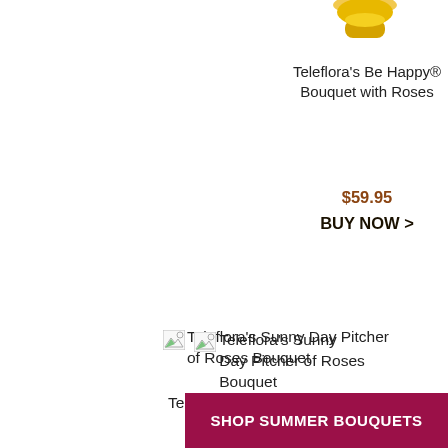[Figure (photo): Partially visible product image at top right, yellow/gold bouquet partially cropped]
Teleflora's Be Happy® Bouquet with Roses
$59.95
BUY NOW >
[Figure (photo): Broken/missing image placeholder icon for Teleflora's Sunny Day Pitcher of Roses Bouquet]
Teleflora's Sunny Day Pitcher of Roses Bouquet
Teleflora's Sunny Day Pitcher of Roses
$79.95
BUY NOW >
SHOP SUMMER BOUQUETS